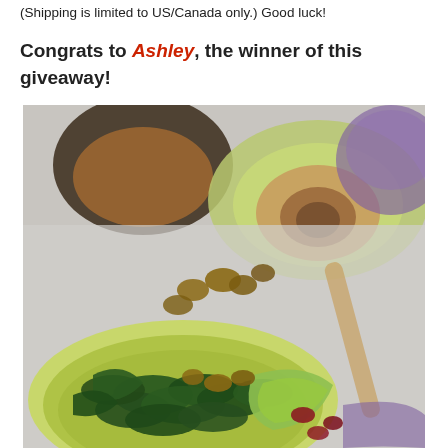(Shipping is limited to US/Canada only.) Good luck!
Congrats to Ashley, the winner of this giveaway!
[Figure (photo): Close-up food photography of a salad with dark leafy greens (mache/lamb's lettuce), avocado slices, walnuts, and cranberries in a light green bowl. In the background, a halved avocado on a green plate, a dark bowl, and a blurred purple onion are visible. A wooden spoon is partially visible.]